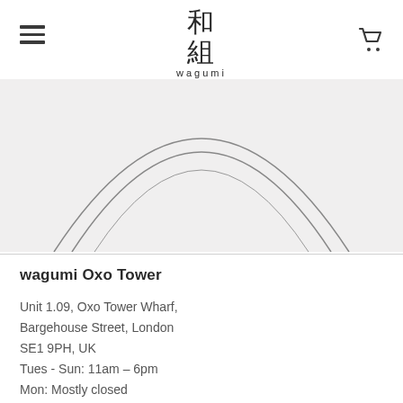[Figure (logo): Wagumi logo with Japanese kanji characters 和組 above the romanized text 'wagumi', with hamburger menu icon on left and shopping cart icon on right]
[Figure (photo): Partial view of a circular plate or bowl with concentric ring details, shown on light grey background, cropped at top]
wagumi Oxo Tower
Unit 1.09, Oxo Tower Wharf,
Bargehouse Street, London
SE1 9PH, UK
Tues - Sun: 11am – 6pm
Mon: Mostly closed
Tel: +44 (0) 20 7928 1427